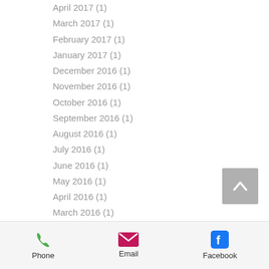April 2017 (1)
March 2017 (1)
February 2017 (1)
January 2017 (1)
December 2016 (1)
November 2016 (1)
October 2016 (1)
September 2016 (1)
August 2016 (1)
July 2016 (1)
June 2016 (1)
May 2016 (1)
April 2016 (1)
March 2016 (1)
February 2016 (1)
January 2016 (1)
December 2015 (1)
November 2015 (1)
October 2015 (1)
September 2015 (1)
Phone  Email  Facebook